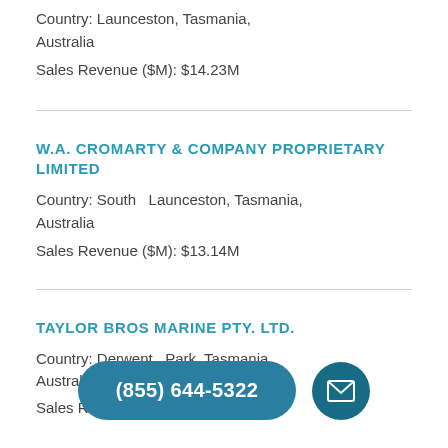Country: Launceston, Tasmania, Australia
Sales Revenue ($M): $14.23M
W.A. CROMARTY & COMPANY PROPRIETARY LIMITED
Country: South Launceston, Tasmania, Australia
Sales Revenue ($M): $13.14M
TAYLOR BROS MARINE PTY. LTD.
Country: Derwent Park, Tasmania, Australia
Sales Revenue ($M):